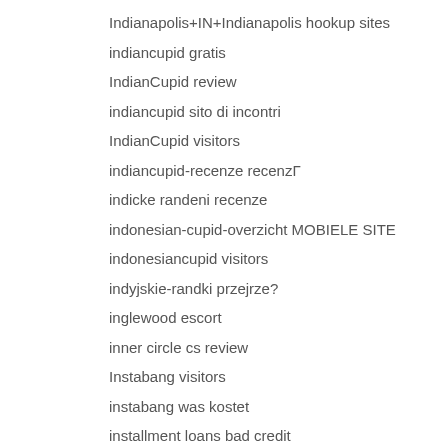Indianapolis+IN+Indianapolis hookup sites
indiancupid gratis
IndianCupid review
indiancupid sito di incontri
IndianCupid visitors
indiancupid-recenze recenzГ
indicke randeni recenze
indonesian-cupid-overzicht MOBIELE SITE
indonesiancupid visitors
indyjskie-randki przejrze?
inglewood escort
inner circle cs review
Instabang visitors
instabang was kostet
installment loans bad credit